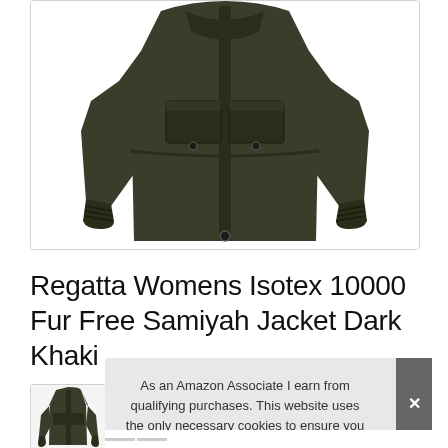[Figure (photo): Dark olive/khaki women's parka jacket with chest flap pockets, drawstring waist, button and zip front closure, ribbed cuffs, displayed on white background]
Regatta Womens Isotex 10000 Fur Free Samiyah Jacket Dark Khaki
[Figure (photo): Small thumbnail of the same dark khaki jacket]
As an Amazon Associate I earn from qualifying purchases. This website uses the only necessary cookies to ensure you get the best experience on our website. More information